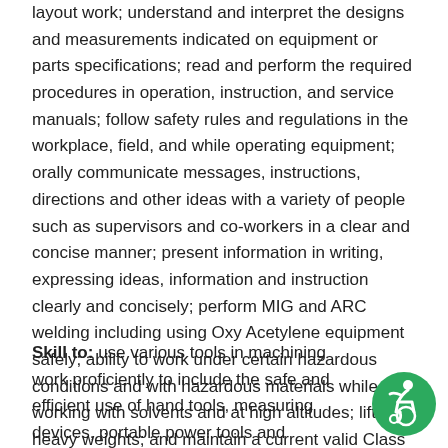layout work; understand and interpret the designs and measurements indicated on equipment or parts specifications; read and perform the required procedures in operation, instruction, and service manuals; follow safety rules and regulations in the workplace, field, and while operating equipment; orally communicate messages, instructions, directions and other ideas with a variety of people such as supervisors and co-workers in a clear and concise manner; present information in writing, expressing ideas, information and instruction clearly and concisely; perform MIG and ARC welding including using Oxy Acetylene equipment safely; ability to work under certain hazardous conditions and with hazardous materials while working with solvents and at high altitudes; lift heavy weights; and maintain a current valid Class C driver license.
Skill to: use various tools in machining work proficiently to include the safe and efficient use of hand tools, measuring devices, portable power tools and machine tools.
[Figure (illustration): Circular green accessibility icon showing a person in a dynamic wheelchair pose]